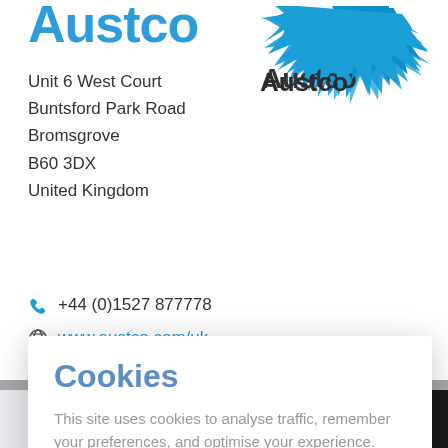Austco
[Figure (logo): Austco logo with blue star/arrow graphic and 'Austco' text in dark grey]
Unit 6 West Court
Buntsford Park Road
Bromsgrove
B60 3DX
United Kingdom
+44 (0)1527 877778
www.austco.com/uk
Cookies
This site uses cookies to analyse traffic, remember your preferences, and optimise your experience.
LEARN MORE   CLOSE
[Figure (logo): Built-in RTLS logo with wifi/navigation icon and YouTube play button overlay]